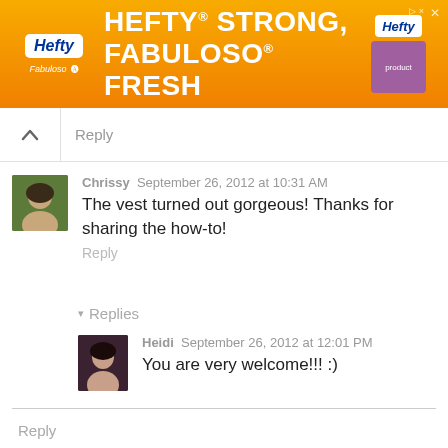[Figure (photo): Hefty brand advertisement banner: orange background with text 'HEFTY STRONG, FABULOSO FRESH', Hefty logo, Fabuloso logo, Arm & Hammer logo, and product image]
Reply
Chrissy  September 26, 2012 at 10:31 AM
The vest turned out gorgeous! Thanks for sharing the how-to!
Reply
▾  Replies
Heidi  September 26, 2012 at 12:01 PM
You are very welcome!!! :)
Reply